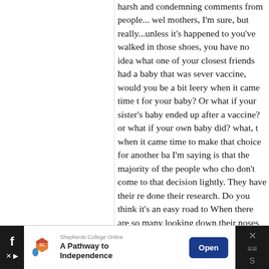harsh and condemning comments from people... wel mothers, I'm sure, but really...unless it's happened to you've walked in those shoes, you have no idea what one of your closest friends had a baby that was sever vaccine, would you be a bit leery when it came time t for your baby? Or what if your sister's baby ended up after a vaccine? or what if your own baby did? what, t when it came time to make that choice for another ba I'm saying is that the majority of the people who cho don't come to that decision lightly. They have their re done their research. Do you think it's an easy road to When there are so many looking down their noses at schools want to tell you that your child cannot atten start up and basically tell you that you are being an ir citizen? Wouldn't it be easier to just go along with wh does? To come to that decision takes a lot of research and sometimes personal experience.
.-= Katrina's last blog ..got a tissue? =-.
[Figure (screenshot): Advertisement banner for Shepherds College Online - A Pathway to Independence, with an Open button]